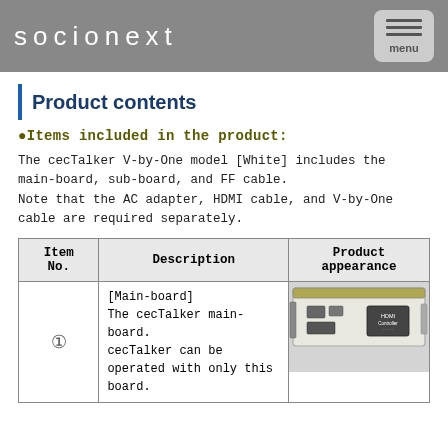socionext | menu
Product contents
●Items included in the product:
The cecTalker V-by-One model [White] includes the main-board, sub-board, and FF cable.
Note that the AC adapter, HDMI cable, and V-by-One cable are required separately.
| Item No. | Description | Product appearance |
| --- | --- | --- |
|  | [Main-board]
The cecTalker main-board.
cecTalker can be operated with only this board. | (product image) |